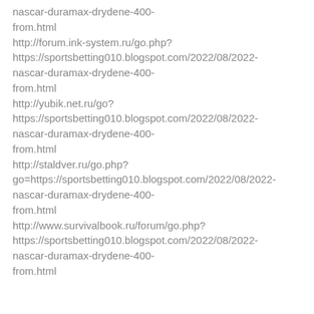nascar-duramax-drydene-400-from.html http://forum.ink-system.ru/go.php? https://sportsbetting010.blogspot.com/2022/08/2022-nascar-duramax-drydene-400-from.html http://yubik.net.ru/go? https://sportsbetting010.blogspot.com/2022/08/2022-nascar-duramax-drydene-400-from.html http://staldver.ru/go.php?go=https://sportsbetting010.blogspot.com/2022/08/2022-nascar-duramax-drydene-400-from.html http://www.survivalbook.ru/forum/go.php? https://sportsbetting010.blogspot.com/2022/08/2022-nascar-duramax-drydene-400-from.html